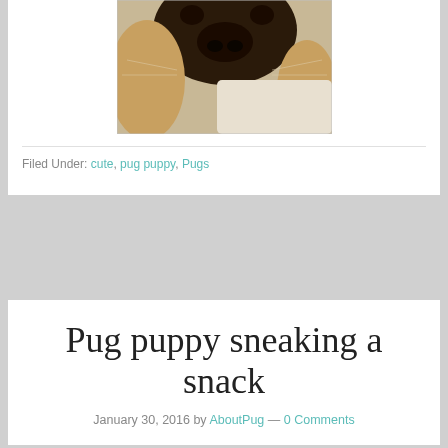[Figure (photo): Close-up photo of a pug dog face from above, showing the dark nose and tan fur]
Filed Under: cute, pug puppy, Pugs
Pug puppy sneaking a snack
January 30, 2016 by AboutPug — 0 Comments